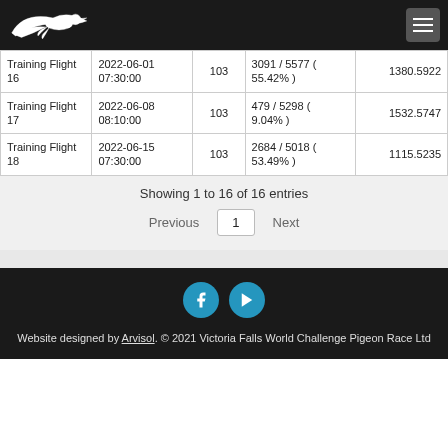Victoria Falls World Challenge Pigeon Race - Navigation header with logo and menu
| Name | Date/Time | Pigeons | Distance/Percent | Speed |
| --- | --- | --- | --- | --- |
| Training Flight 16 | 2022-06-01 07:30:00 | 103 | 3091 / 5577 ( 55.42% ) | 1380.5922 |
| Training Flight 17 | 2022-06-08 08:10:00 | 103 | 479 / 5298 ( 9.04% ) | 1532.5747 |
| Training Flight 18 | 2022-06-15 07:30:00 | 103 | 2684 / 5018 ( 53.49% ) | 1115.5235 |
Showing 1 to 16 of 16 entries
Previous 1 Next
Website designed by Arvisol. © 2021 Victoria Falls World Challenge Pigeon Race Ltd